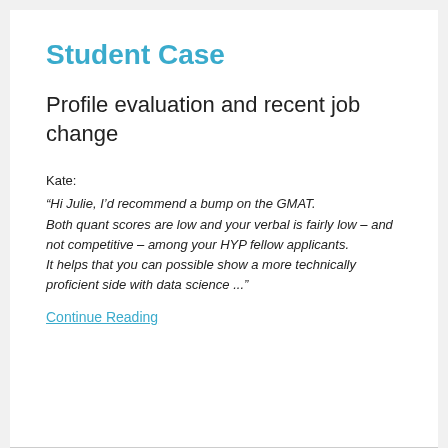Student Case
Profile evaluation and recent job change
Kate:
“Hi Julie, I’d recommend a bump on the GMAT. Both quant scores are low and your verbal is fairly low – and not competitive – among your HYP fellow applicants. It helps that you can possible show a more technically proficient side with data science ...”
Continue Reading